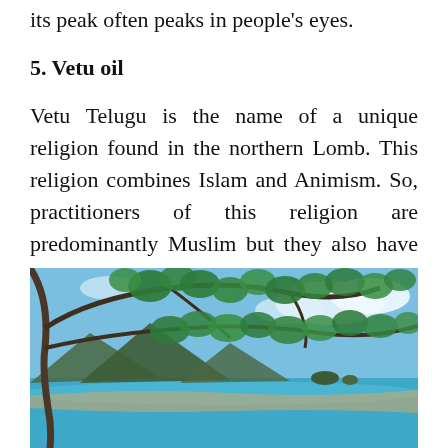its peak often peaks in people's eyes.
5. Vetu oil
Vetu Telugu is the name of a unique religion found in the northern Lomb. This religion combines Islam and Animism. So, practitioners of this religion are predominantly Muslim but they also have some extra rituals.
[Figure (photo): Tropical beach scene with tree branches and green leaves in the foreground, turquoise ocean water, mountains in the background, and a partly cloudy blue sky.]